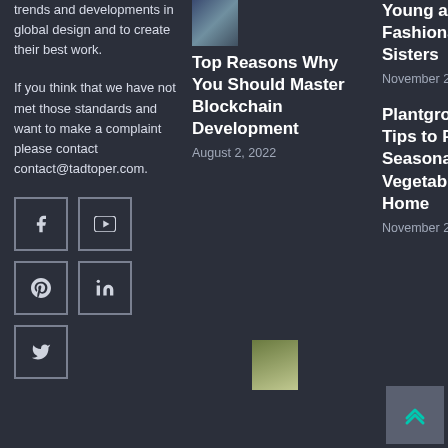trends and developments in global design and to create their best work.
If you think that we have not met those standards and want to make a complaint please contact contact@tadtoper.com.
[Figure (other): Social media icon buttons: Facebook, YouTube, Pinterest, LinkedIn, Twitter]
[Figure (photo): Small thumbnail image for blockchain article]
Top Reasons Why You Should Master Blockchain Development
August 2, 2022
Young and Fashionable Sisters
November 27, 2019
[Figure (photo): Small thumbnail of person outdoors]
Plantgrowpick – Tips to Plant Seasonal Vegetables at Home
November 22, 2019